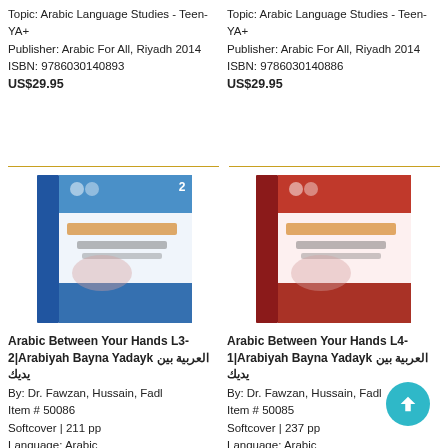Topic: Arabic Language Studies - Teen-YA+
Publisher: Arabic For All, Riyadh 2014
ISBN: 9786030140893
US$29.95
Topic: Arabic Language Studies - Teen-YA+
Publisher: Arabic For All, Riyadh 2014
ISBN: 9786030140886
US$29.95
[Figure (photo): Book cover of Arabic Between Your Hands L3-2, blue cover with Arabic script]
Arabic Between Your Hands L3-2|Arabiyah Bayna Yadayk العربية بين يديك
By: Dr. Fawzan, Hussain, Fadl
Item # 50086
Softcover | 211 pp
Language: Arabic
Topic: Arabic Language Studies - Teen-YA+
Publisher: Arabic For All, Riyadh 2014
ISBN: 9786030140879
US$29.95
[Figure (photo): Book cover of Arabic Between Your Hands L4-1, red cover with Arabic script]
Arabic Between Your Hands L4-1|Arabiyah Bayna Yadayk العربية بين يديك
By: Dr. Fawzan, Hussain, Fadl
Item # 50085
Softcover | 237 pp
Language: Arabic
Topic: Arabic Language Studies -
Publisher: Arabic For All, Riyadh
ISBN: 9786030140862
US$29.95